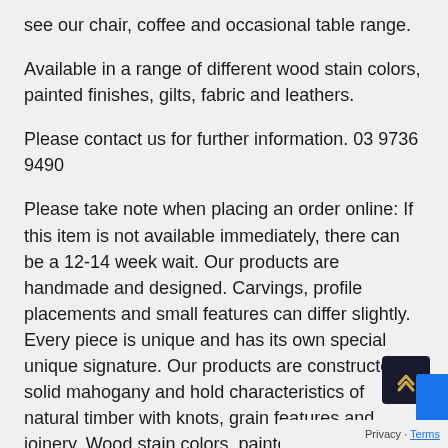see our chair, coffee and occasional table range.
Available in a range of different wood stain colors, painted finishes, gilts, fabric and leathers.
Please contact us for further information. 03 9736 9490
Please take note when placing an order online: If this item is not available immediately, there can be a 12-14 week wait. Our products are handmade and designed. Carvings, profile placements and small features can differ slightly. Every piece is unique and has its own special unique signature. Our products are constructed in solid mahogany and hold characteristics of natural timber with knots, grain features and joinery. Wood stain colors, painted and gilded finishes and upholstery may appear differently from your computer screen or device. We unfortunately do not accept returns or